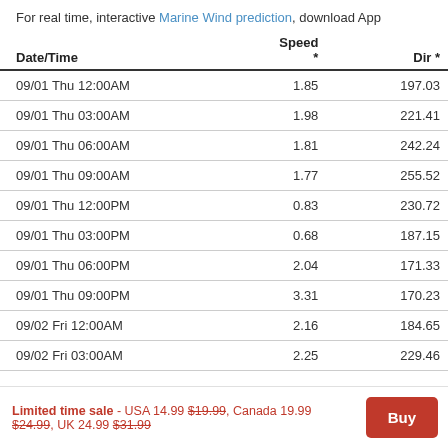For real time, interactive Marine Wind prediction, download App
| Date/Time | Speed * | Dir * |
| --- | --- | --- |
| 09/01 Thu 12:00AM | 1.85 | 197.03 |
| 09/01 Thu 03:00AM | 1.98 | 221.41 |
| 09/01 Thu 06:00AM | 1.81 | 242.24 |
| 09/01 Thu 09:00AM | 1.77 | 255.52 |
| 09/01 Thu 12:00PM | 0.83 | 230.72 |
| 09/01 Thu 03:00PM | 0.68 | 187.15 |
| 09/01 Thu 06:00PM | 2.04 | 171.33 |
| 09/01 Thu 09:00PM | 3.31 | 170.23 |
| 09/02 Fri 12:00AM | 2.16 | 184.65 |
| 09/02 Fri 03:00AM | 2.25 | 229.46 |
Limited time sale - USA 14.99 $19.99, Canada 19.99 $24.99, UK 24.99 $31.99